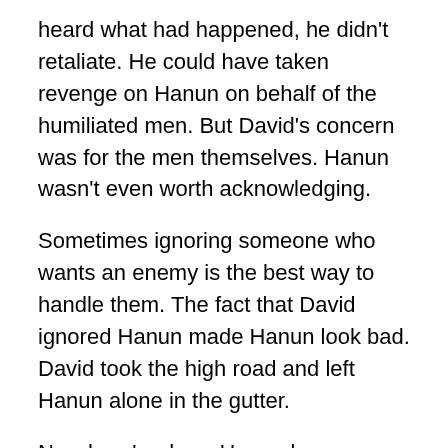heard what had happened, he didn't retaliate. He could have taken revenge on Hanun on behalf of the humiliated men. But David's concern was for the men themselves. Hanun wasn't even worth acknowledging.
Sometimes ignoring someone who wants an enemy is the best way to handle them. The fact that David ignored Hanun made Hanun look bad. David took the high road and left Hanun alone in the gutter.
Now here's where Hanun becomes his own worst enemy. He could have allowed David's actions to convict him, drive him to his knees in repentance, and cause him to ask David and his men for forgiveness. We would be reading a completely different account had Hanun humbled himself.
But he didn't. Hanun went to David. But the fact of...